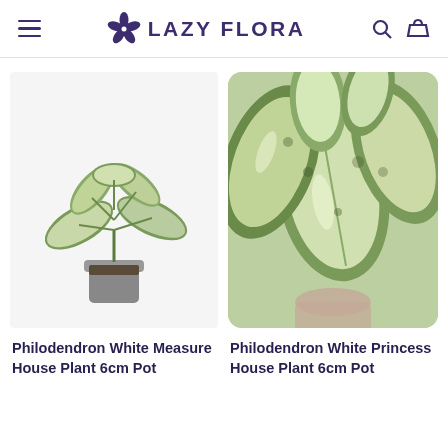LAZY FLORA
[Figure (photo): Philodendron White Measure House Plant in a small grey pot, on white background]
[Figure (photo): Close-up photo of Philodendron White Princess House Plant with green and white variegated leaves, held in a pink pot, rounded card style]
Philodendron White Measure House Plant 6cm Pot
Philodendron White Princess House Plant 6cm Pot